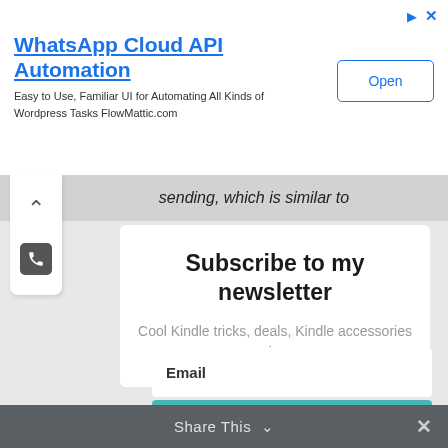[Figure (screenshot): Advertisement banner for WhatsApp Cloud API Automation by FlowMattic.com with an Open button]
WhatsApp Cloud API Automation
Easy to Use, Familiar UI for Automating All Kinds of Wordpress Tasks FlowMattic.com
sending, which is similar to
Subscribe to my newsletter
Cool Kindle tricks, deals, Kindle accessories reviews.
Email
SUBSCRIBE!
Share This